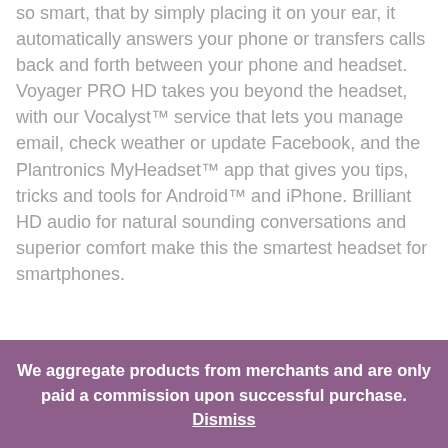so smart, that by simply placing it on your ear, it automatically answers your phone or transfers calls back and forth between your phone and headset. Voyager PRO HD takes you beyond the headset, with our Vocalyst™ service that lets you manage email, check weather or update Facebook, and the Plantronics MyHeadset™ app that gives you tips, tricks and tools for Android™ and iPhone. Brilliant HD audio for natural sounding conversations and superior comfort make this the smartest headset for smartphones.
We aggregate products from merchants and are only paid a commission upon successful purchase. Dismiss